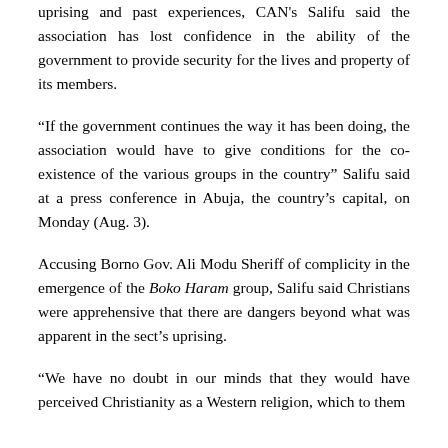uprising and past experiences, CAN's Salifu said the association has lost confidence in the ability of the government to provide security for the lives and property of its members.
“If the government continues the way it has been doing, the association would have to give conditions for the co-existence of the various groups in the country” Salifu said at a press conference in Abuja, the country’s capital, on Monday (Aug. 3).
Accusing Borno Gov. Ali Modu Sheriff of complicity in the emergence of the Boko Haram group, Salifu said Christians were apprehensive that there are dangers beyond what was apparent in the sect’s uprising.
“We have no doubt in our minds that they would have perceived Christianity as a Western religion, which to them